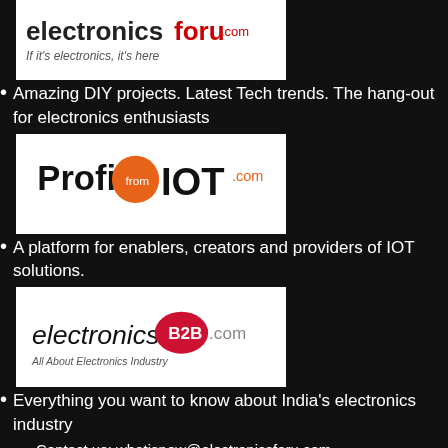[Figure (logo): electronicsforu.com logo - 'If it's electronics, it's here']
Amazing DIY projects. Latest Tech trends. The hang-out for electronics enthusiasts
[Figure (logo): ProfitfromIOT.com logo]
A platform for enablers, creators and providers of IOT solutions.
[Figure (logo): electronicsB2B.com logo - All About Electronics Industry]
Everything you want to know about India's electronics industry
Contact us: whatisnew@electronicsforu.com
[Figure (infographic): Social media icons: Facebook, Instagram, LinkedIn, Email, Pinterest, RSS, Twitter, YouTube]
Inspired by our flagship publication